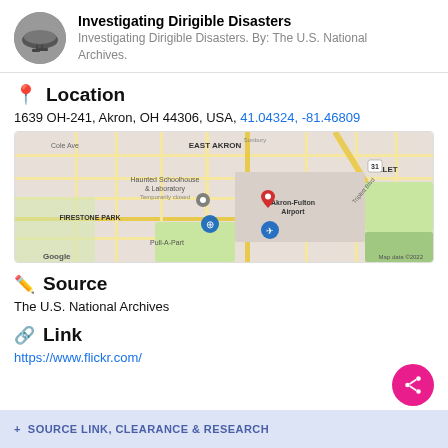Investigating Dirigible Disasters. Investigating Dirigible Disasters. By: The U.S. National Archives.
Location
1639 OH-241, Akron, OH 44306, USA, 41.04324, -81.46809
[Figure (map): Google Maps screenshot showing East Akron area including Akron-Fulton Airport, Firestone Park, Pull-A-Part, Haunted Schoolhouse & Laboratory. A red pin marks the location. Map data ©2022.]
Source
The U.S. National Archives
Link
https://www.flickr.com/
+ SOURCE LINK, CLEARANCE & RESEARCH